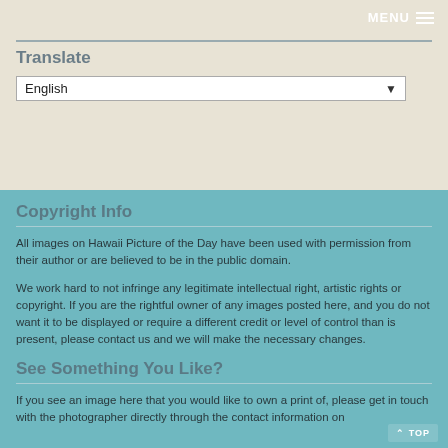MENU
Translate
English
Copyright Info
All images on Hawaii Picture of the Day have been used with permission from their author or are believed to be in the public domain.
We work hard to not infringe any legitimate intellectual right, artistic rights or copyright. If you are the rightful owner of any images posted here, and you do not want it to be displayed or require a different credit or level of control than is present, please contact us and we will make the necessary changes.
See Something You Like?
If you see an image here that you would like to own a print of, please get in touch with the photographer directly through the contact information on